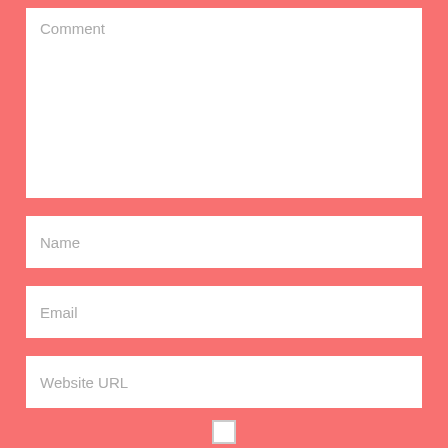[Figure (screenshot): Comment form with fields for Comment (textarea), Name, Email, Website URL, a checkbox, and a 'Save my name, email, and website in this browser for the next time I comment.' label. Background is salmon/coral red.]
Comment
Name
Email
Website URL
Save my name, email, and website in this browser for the next time I comment.